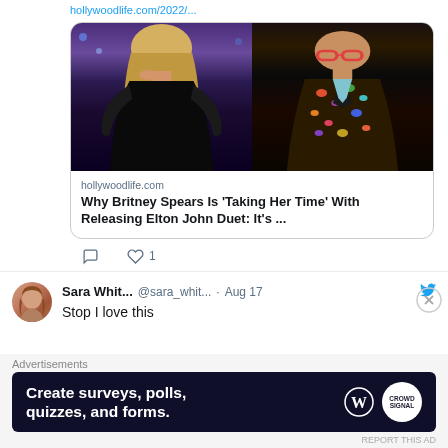hollywoodlife.com/2022/...
[Figure (photo): Side-by-side photo of Britney Spears (left, in black outfit on stage with blue lighting) and Elton John (right, in colorful floral blazer on stage)]
hollywoodlife.com
Why Britney Spears Is ‘Taking Her Time’ With Releasing Elton John Duet: It’s ...
1
Sara Whit... @sara_whit... · Aug 17
Stop I love this
Advertisements
Create surveys, polls, quizzes, and forms.
REPORT THIS AD